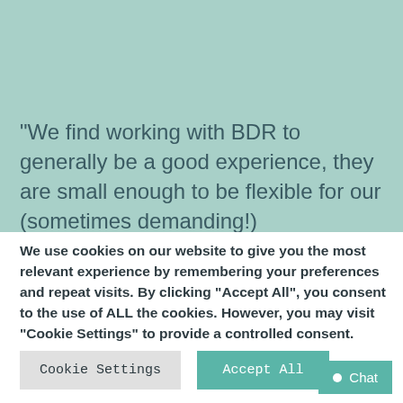“We find working with BDR to generally be a good experience, they are small enough to be flexible for our (sometimes demanding!) requirements. We have recently installed phone systems in 2 major hotels
We use cookies on our website to give you the most relevant experience by remembering your preferences and repeat visits. By clicking “Accept All”, you consent to the use of ALL the cookies. However, you may visit "Cookie Settings" to provide a controlled consent.
Cookie Settings
Accept All
Chat